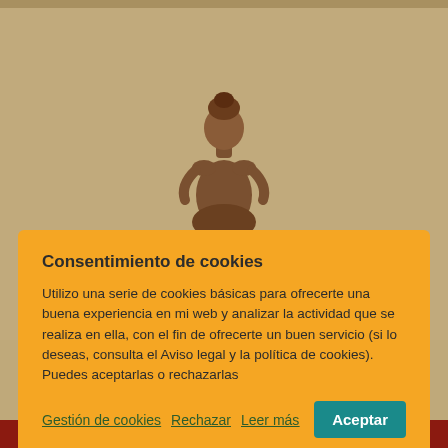[Figure (illustration): Book cover background showing a beige/tan textured surface with a brown ceramic/clay figurine at the top center, and large dark red text at the bottom reading 'diablo sopla' with smaller text above and author name at the very bottom on a dark red banner]
Consentimiento de cookies
Utilizo una serie de cookies básicas para ofrecerte una buena experiencia en mi web y analizar la actividad que se realiza en ella, con el fin de ofrecerte un buen servicio (si lo deseas, consulta el Aviso legal y la política de cookies). Puedes aceptarlas o rechazarlas
Gestión de cookies   Rechazar   Leer más   Aceptar